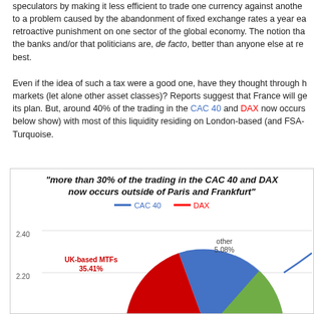speculators by making it less efficient to trade one currency against another... to a problem caused by the abandonment of fixed exchange rates a year ea... retroactive punishment on one sector of the global economy. The notion tha... the banks and/or that politicians are, de facto, better than anyone else at re... best.
Even if the idea of such a tax were a good one, have they thought through h... markets (let alone other asset classes)? Reports suggest that France will ge... its plan. But, around 40% of the trading in the CAC 40 and DAX now occurs... below show) with most of this liquidity residing on London-based (and FSA-... Turquoise.
[Figure (pie-chart): "more than 30% of the trading in the CAC 40 and DAX now occurs outside of Paris and Frankfurt"]